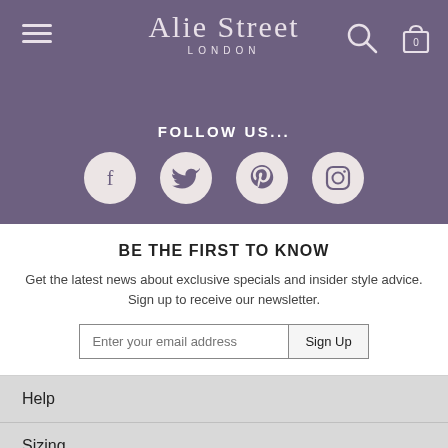Alie Street London
FOLLOW US...
[Figure (other): Social media icons: Facebook, Twitter, Pinterest, Instagram — circular beige buttons on purple background]
BE THE FIRST TO KNOW
Get the latest news about exclusive specials and insider style advice. Sign up to receive our newsletter.
Enter your email address [Sign Up button]
Help
Sizing
Delivery
Returns
Shopping Bag
Contact Us